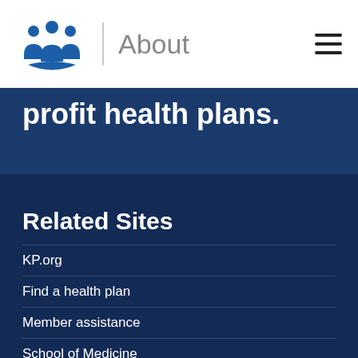About
profit health plans.
Related Sites
KP.org
Find a health plan
Member assistance
School of Medicine
Permanente Medicine
Institute for Health Policy